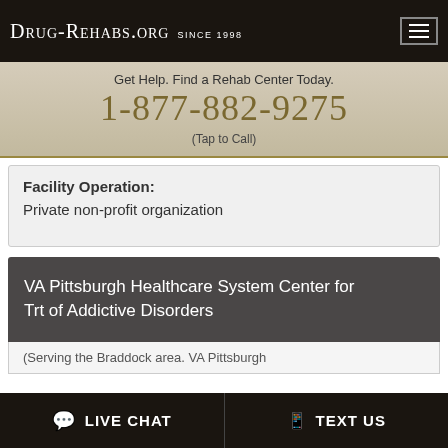Drug-Rehabs.org Since 1998
Get Help. Find a Rehab Center Today.
1-877-882-9275
(Tap to Call)
Facility Operation:
Private non-profit organization
VA Pittsburgh Healthcare System Center for Trt of Addictive Disorders
(Serving the Braddock area. VA Pittsburgh
LIVE CHAT   TEXT US